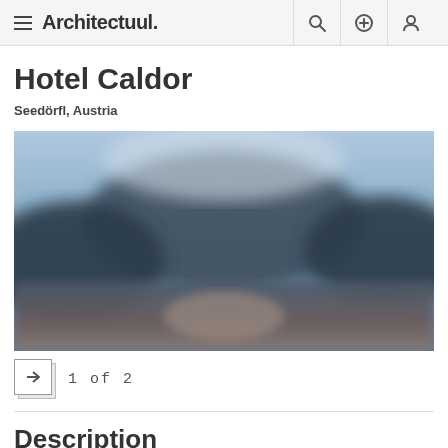Architectuul.
Hotel Caldor
Seedörfl, Austria
[Figure (photo): Blurred exterior photo of Hotel Caldor showing a building in a mountainous landscape with blue sky]
1 of 2
Description